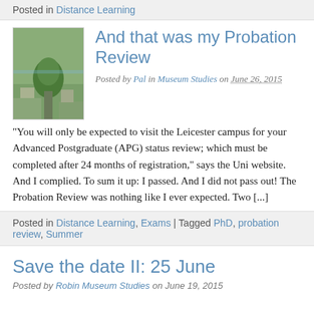Posted in Distance Learning
And that was my Probation Review
Posted by Pal in Museum Studies on June 26, 2015
“You will only be expected to visit the Leicester campus for your Advanced Postgraduate (APG) status review; which must be completed after 24 months of registration,” says the Uni website. And I complied. To sum it up: I passed. And I did not pass out! The Probation Review was nothing like I ever expected. Two […]
Posted in Distance Learning, Exams | Tagged PhD, probation review, Summer
Save the date II: 25 June
Posted by Robin Museum Studies on June 19, 2015